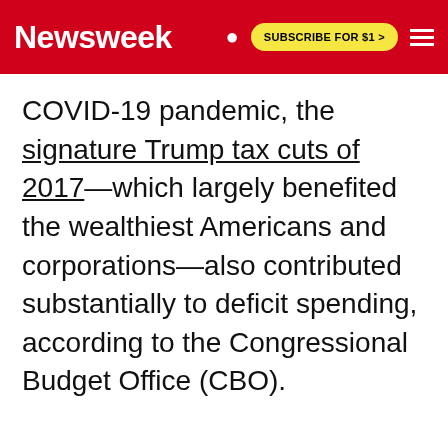Newsweek | SUBSCRIBE FOR $1 >
COVID-19 pandemic, the signature Trump tax cuts of 2017—which largely benefited the wealthiest Americans and corporations—also contributed substantially to deficit spending, according to the Congressional Budget Office (CBO).